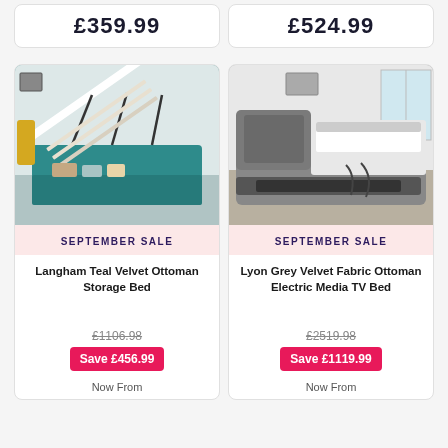£359.99
£524.99
[Figure (photo): Langham Teal Velvet Ottoman Storage Bed with lid open showing storage compartment]
SEPTEMBER SALE
Langham Teal Velvet Ottoman Storage Bed
£1106.98 (strikethrough)
Save £456.99
Now From
[Figure (photo): Lyon Grey Velvet Fabric Ottoman Electric Media TV Bed with TV mechanism visible]
SEPTEMBER SALE
Lyon Grey Velvet Fabric Ottoman Electric Media TV Bed
£2519.98 (strikethrough)
Save £1119.99
Now From